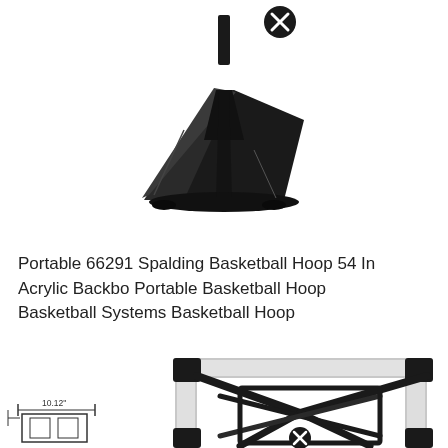[Figure (photo): Black portable basketball hoop base/stand component shown at an angle from above, with a circular X (close/remove) button in the upper area]
Portable 66291 Spalding Basketball Hoop 54 In Acrylic Backbo Portable Basketball Hoop Basketball Systems Basketball Hoop
[Figure (photo): Basketball backboard frame with white/silver rectangular border and black internal support brackets, shown from behind/below. Bottom-left shows a schematic detail with dimension label 10.12. A circular X (close/remove) button visible near the bottom center.]